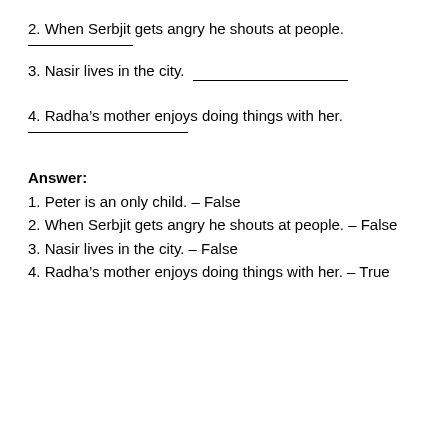2. When Serbjit gets angry he shouts at people.
3. Nasir lives in the city.  ____________________
4. Radha’s mother enjoys doing things with her.
Answer:
1. Peter is an only child. – False
2. When Serbjit gets angry he shouts at people. – False
3. Nasir lives in the city. – False
4. Radha’s mother enjoys doing things with her. – True